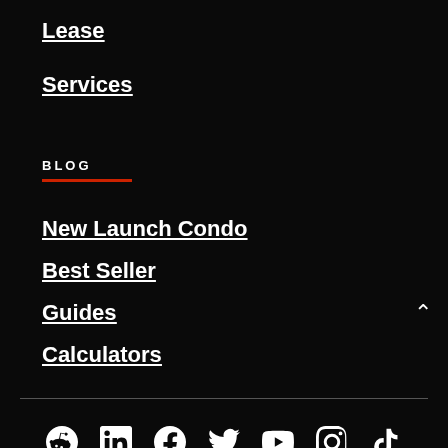Lease
Services
BLOG
New Launch Condo
Best Seller
Guides
Calculators
[Figure (other): Social media icons row: Reddit, LinkedIn, Facebook, Twitter/X, YouTube, Instagram, TikTok]